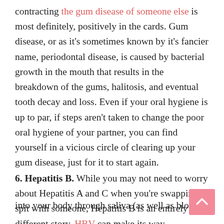contracting the gum disease of someone else is most definitely, positively in the cards. Gum disease, or as it's sometimes known by it's fancier name, periodontal disease, is caused by bacterial growth in the mouth that results in the breakdown of the gums, halitosis, and eventual tooth decay and loss. Even if your oral hygiene is up to par, if steps aren't taken to change the poor oral hygiene of your partner, you can find yourself in a vicious circle of clearing up your gum disease, just for it to start again.
6. Hepatitis B. While you may not need to worry about Hepatitis A and C when you're swapping spit with someone, Hepatitis B is an entirely different story. HBV can make its way into your body through saliva (as well as blood, semen, and...